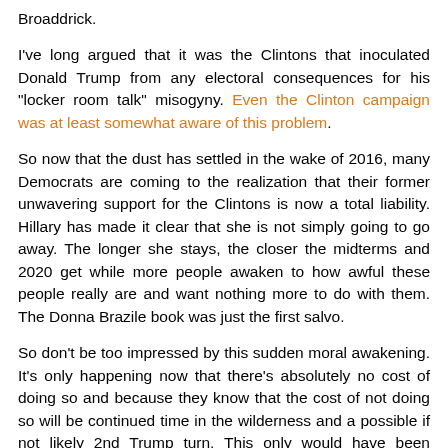Broaddrick.
I've long argued that it was the Clintons that inoculated Donald Trump from any electoral consequences for his "locker room talk" misogyny. Even the Clinton campaign was at least somewhat aware of this problem.
So now that the dust has settled in the wake of 2016, many Democrats are coming to the realization that their former unwavering support for the Clintons is now a total liability. Hillary has made it clear that she is not simply going to go away. The longer she stays, the closer the midterms and 2020 get while more people awaken to how awful these people really are and want nothing more to do with them. The Donna Brazile book was just the first salvo.
So don't be too impressed by this sudden moral awakening. It's only happening now that there's absolutely no cost of doing so and because they know that the cost of not doing so will be continued time in the wilderness and a possible if not likely 2nd Trump turn. This only would have been "principled, bold and brave" had it happened in 1998